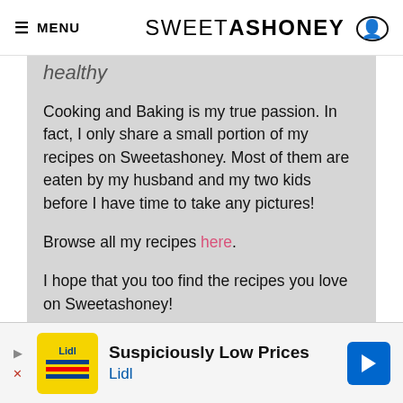≡ MENU   SWEETASHONEY 👤
healthy
Cooking and Baking is my true passion. In fact, I only share a small portion of my recipes on Sweetashoney. Most of them are eaten by my husband and my two kids before I have time to take any pictures!
Browse all my recipes here.
I hope that you too find the recipes you love on Sweetashoney!
[Figure (other): Lidl advertisement banner: 'Suspiciously Low Prices Lidl' with Lidl logo and blue directional arrow icon]